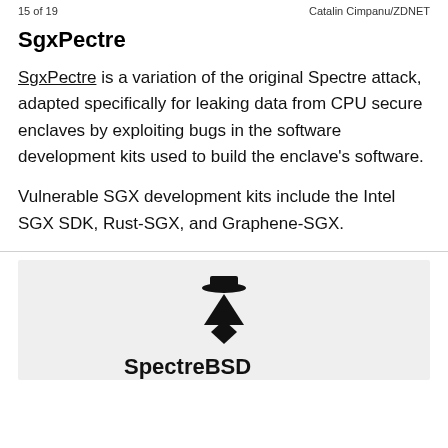15 of 19    Catalin Cimpanu/ZDNET
SgxPectre
SgxPectre is a variation of the original Spectre attack, adapted specifically for leaking data from CPU secure enclaves by exploiting bugs in the software development kits used to build the enclave's software.
Vulnerable SGX development kits include the Intel SGX SDK, Rust-SGX, and Graphene-SGX.
[Figure (illustration): Spectre BSD logo or similar security vulnerability branding illustration on a light gray background, partially visible at bottom of page.]